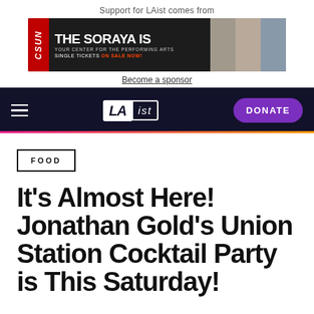Support for LAist comes from
[Figure (photo): CSUN / The Soraya Is Your Center for the Performing Arts – Single Tickets On Sale Now! Advertisement banner with performer photos]
Become a sponsor
LAist – DONATE
FOOD
It's Almost Here! Jonathan Gold's Union Station Cocktail Party is This Saturday!